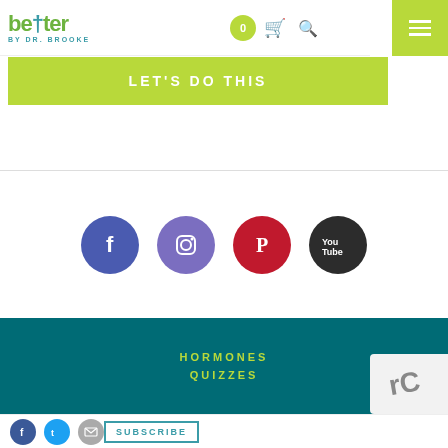better BY DR. BROOKE
LET'S DO THIS
[Figure (other): Social media icons row: Facebook (blue-purple circle), Instagram (purple circle), Pinterest (red circle), YouTube (dark circle)]
HORMONES
QUIZZES
SUBSCRIBE